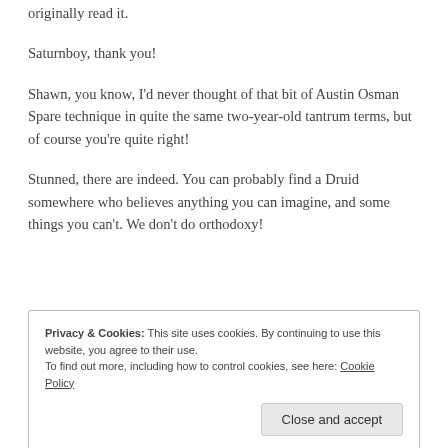originally read it.
Saturnboy, thank you!
Shawn, you know, I'd never thought of that bit of Austin Osman Spare technique in quite the same two-year-old tantrum terms, but of course you're quite right!
Stunned, there are indeed. You can probably find a Druid somewhere who believes anything you can imagine, and some things you can't. We don't do orthodoxy!
Privacy & Cookies: This site uses cookies. By continuing to use this website, you agree to their use. To find out more, including how to control cookies, see here: Cookie Policy
that spiritual entities have been defined by some people, all